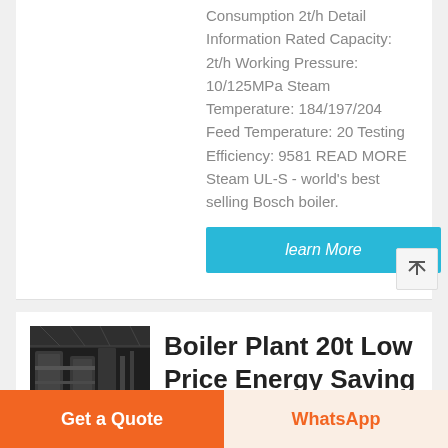Consumption 2t/h Detail Information Rated Capacity: 2t/h Working Pressure: 10/125MPa Steam Temperature: 184/197/204 Feed Temperature: 20 Testing Efficiency: 9581 READ MORE Steam UL-S - world's best selling Bosch boiler.
learn More
[Figure (photo): Interior of an industrial boiler plant facility showing large equipment and steel structure]
Boiler Plant 20t Low Price Energy Saving
Get a Quote
WhatsApp